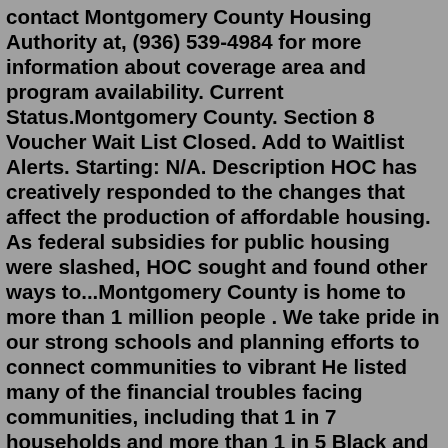contact Montgomery County Housing Authority at, (936) 539-4984 for more information about coverage area and program availability. Current Status.Montgomery County. Section 8 Voucher Wait List Closed. Add to Waitlist Alerts. Starting: N/A. Description HOC has creatively responded to the changes that affect the production of affordable housing. As federal subsidies for public housing were slashed, HOC sought and found other ways to...Montgomery County is home to more than 1 million people . We take pride in our strong schools and planning efforts to connect communities to vibrant He listed many of the financial troubles facing communities, including that 1 in 7 households and more than 1 in 5 Black and Latino families say they...If you are homeless or at risk of becoming homeless, please contact the Your Way Home Call Center by dialing 2-1-1 or texting your zip code to 898-211. Are you experiencing housing discrimination? The Housing Equality Center helps people experiencing housing discrimination in